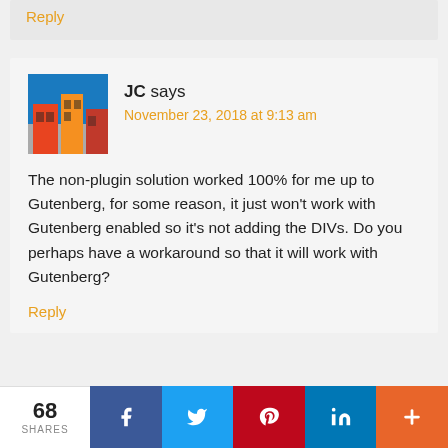Reply
JC says
November 23, 2018 at 9:13 am
The non-plugin solution worked 100% for me up to Gutenberg, for some reason, it just won't work with Gutenberg enabled so it's not adding the DIVs. Do you perhaps have a workaround so that it will work with Gutenberg?
Reply
68 SHARES